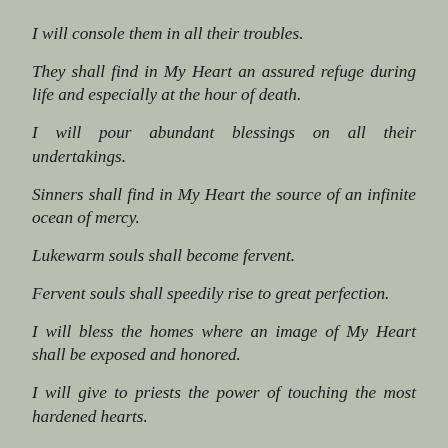I will console them in all their troubles.
They shall find in My Heart an assured refuge during life and especially at the hour of death.
I will pour abundant blessings on all their undertakings.
Sinners shall find in My Heart the source of an infinite ocean of mercy.
Lukewarm souls shall become fervent.
Fervent souls shall speedily rise to great perfection.
I will bless the homes where an image of My Heart shall be exposed and honored.
I will give to priests the power of touching the most hardened hearts.